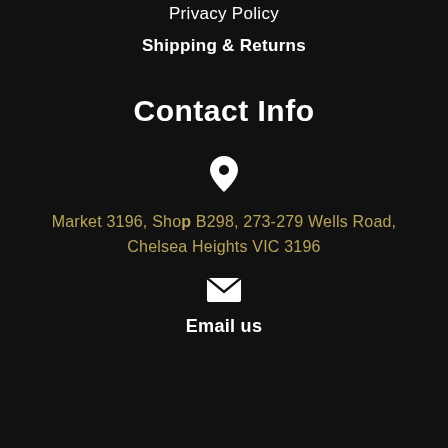Privacy Policy
Shipping & Returns
Contact Info
[Figure (illustration): White map pin / location marker icon]
Market 3196, Shop B298, 273-279 Wells Road, Chelsea Heights VIC 3196
[Figure (illustration): White envelope / mail icon]
Email us